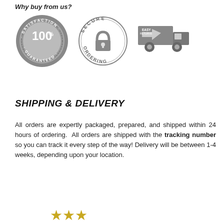Why buy from us?
[Figure (illustration): Three trust badges: 1) Satisfaction 100% Guaranteed metallic circular badge, 2) Secure Ordering circular badge with padlock icon, 3) Easy Returns truck icon with arrow]
SHIPPING & DELIVERY
All orders are expertly packaged, prepared, and shipped within 24 hours of ordering. All orders are shipped with the tracking number so you can track it every step of the way! Delivery will be between 1-4 weeks, depending upon your location.
[Figure (illustration): Partial star rating icons at the bottom of the page]